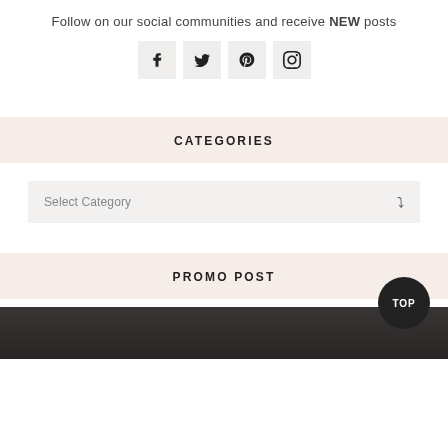Follow on our social communities and receive NEW posts
[Figure (infographic): Four social media icon buttons in light gray boxes: Facebook (f), Twitter (bird), Pinterest (P), Instagram (camera)]
CATEGORIES
Select Category
PROMO POST
[Figure (photo): Dark grayscale image at bottom of page, partially visible]